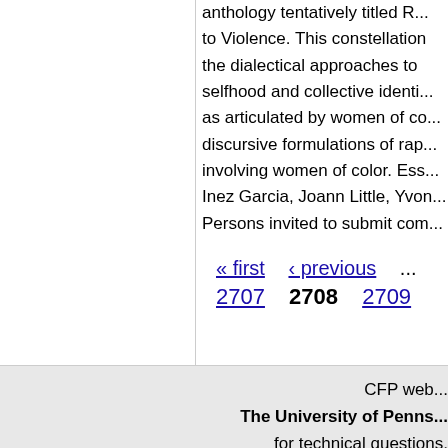anthology tentatively titled R... to Violence. This constellation the dialectical approaches to selfhood and collective identi... as articulated by women of co... discursive formulations of rap... involving women of color. Ess... Inez Garcia, Joann Little, Yvon... Persons invited to submit com...
« first  ‹ previous  ...
2707  2708  2709
CFP web...
The University of Penns...
for technical questions,